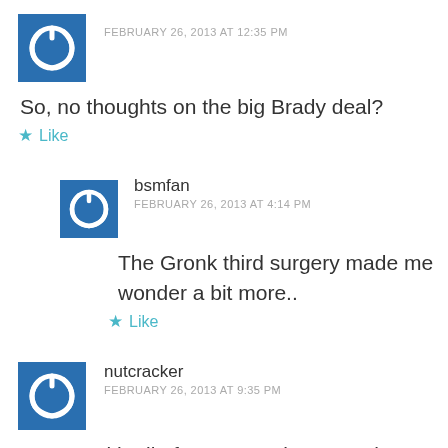[Figure (illustration): Blue square avatar with white power button icon, partially visible at top]
FEBRUARY 26, 2013 AT 12:35 PM
So, no thoughts on the big Brady deal?
★ Like
[Figure (illustration): Blue square avatar with white power button icon for user bsmfan]
bsmfan
FEBRUARY 26, 2013 AT 4:14 PM
The Gronk third surgery made me wonder a bit more..
★ Like
[Figure (illustration): Blue square avatar with white power button icon for user nutcracker]
nutcracker
FEBRUARY 26, 2013 AT 9:35 PM
I agree with all of Bruce's points. It makes